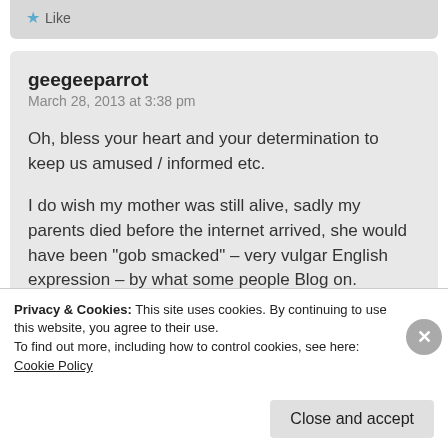[Figure (screenshot): Like button with blue star icon]
geegeeparrot
March 28, 2013 at 3:38 pm

Oh, bless your heart and your determination to keep us amused / informed etc.

I do wish my mother was still alive, sadly my parents died before the internet arrived, she would have been "gob smacked" – very vulgar English expression – by what some people Blog on.
Privacy & Cookies: This site uses cookies. By continuing to use this website, you agree to their use.
To find out more, including how to control cookies, see here: Cookie Policy
Close and accept